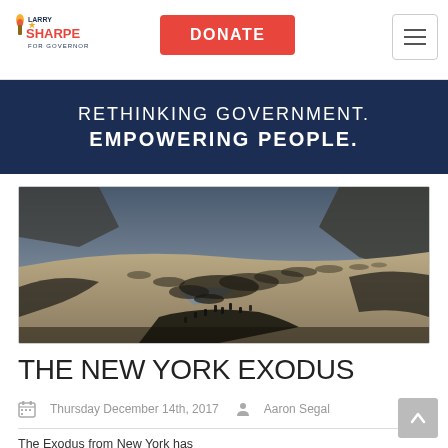LARRY SHARPE FOR GOVERNOR — DONATE — Navigation Menu
RETHINKING GOVERNMENT. EMPOWERING PEOPLE.
[Figure (photo): Aerial cinematic view of a large crowd of people walking across a vast desert landscape with mountains in the background — illustrating a mass exodus.]
THE NEW YORK EXODUS
Thursday December 14th, 2017   Aaron Segal
The Exodus from New York has…